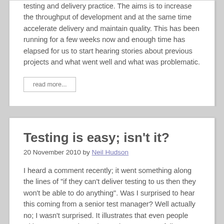testing and delivery practice. The aims is to increase the throughput of development and at the same time accelerate delivery and maintain quality. This has been running for a few weeks now and enough time has elapsed for us to start hearing stories about previous projects and what went well and what was problematic.
read more...
Testing is easy; isn't it?
20 November 2010 by Neil Hudson
I heard a comment recently; it went something along the lines of "if they can't deliver testing to us then they won't be able to do anything". Was I surprised to hear this coming from a senior test manager? Well actually no; I wasn't surprised. It illustrates that even people with many years in senior testing posts can fail to understand what first class testing is, how different it is from run of the mill work and how complex and difficult it is to do first class testing well and at speed. This